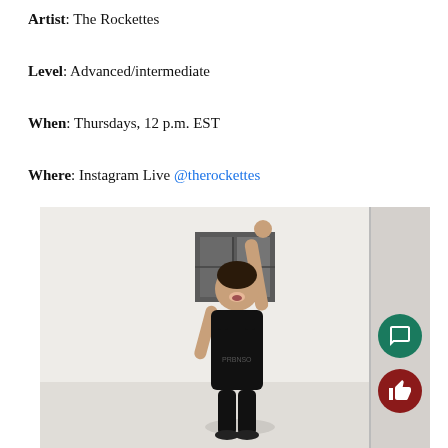Artist: The Rockettes
Level: Advanced/intermediate
When: Thursdays, 12 p.m. EST
Where: Instagram Live @therockettes
[Figure (photo): A woman in a black tank top with one arm raised above her head, standing in a room with a white wall, a dark window frame behind her, and a doorway to the right. Screenshot from Instagram Live. UI elements include a green chat bubble button and a dark red thumbs-up button on the right side.]